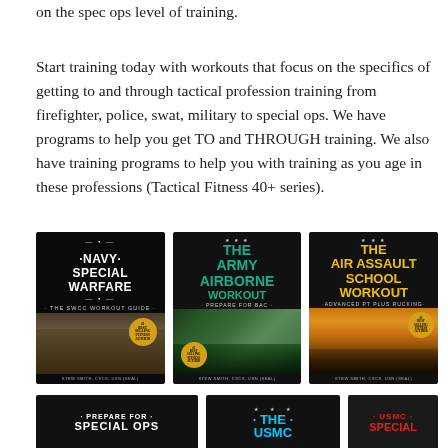on the spec ops level of training.
Start training today with workouts that focus on the specifics of getting to and through tactical profession training from firefighter, police, swat, military to special ops. We have programs to help you get TO and THROUGH training. We also have training programs to help you with training as you age in these professions (Tactical Fitness 40+ series).
[Figure (illustration): Book cover: Navy Special Warfare - The SWCC Workout Guide by Stew Smith, CSCS, USN (SEAL)]
[Figure (illustration): Book cover: The Army Airborne Workout - Prepare for BAC by Stew Smith, CSCS, USN (SEAL)]
[Figure (illustration): Book cover: The Air Assault School Workout - Advanced PT Plus Rucking by Stew Smith, CSCS, USN (SEAL)]
[Figure (illustration): Book cover: Prepare for Special Ops (partially visible)]
[Figure (illustration): Book cover: The USMC (partially visible)]
[Figure (illustration): Book cover: USMC Special (partially visible)]